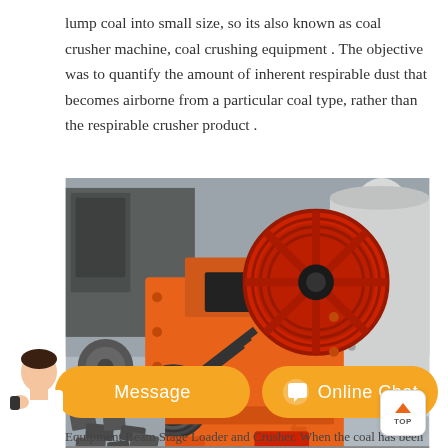lump coal into small size, so its also known as coal crusher machine, coal crushing equipment . The objective was to quantify the amount of inherent respirable dust that becomes airborne from a particular coal type, rather than the respirable crusher product .
[Figure (photo): Photograph of an orange industrial coal crusher machine with large red flywheel/pulley, belts, bolted components, and spare crusher parts (hammers/blow bars) on the ground in a factory or yard setting. A white cylindrical motor or drum is visible on the right side.]
Equipment Beam Stage Loader and Crusher. When the coal has been